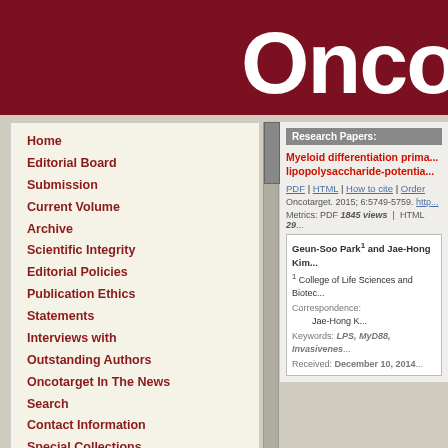Onco
Home
Editorial Board
Submission
Current Volume
Archive
Scientific Integrity
Editorial Policies
Publication Ethics Statements
Interviews with Outstanding Authors
Oncotarget In The News
Search
Contact Information
Special Collections
Research Papers:
Myeloid differentiation prima... lipopolysaccharide-potentia...
PDF | HTML | How to cite | Order
Oncotarget. 2015; 6:5749-5759. http...
Metrics: PDF 1845 views | HTML 29...
Geun-Soo Park1 and Jae-Hong Kim...
1 College of Life Sciences and Biotec...
Correspondence:
Jae-Hong K...
Keywords: LPS, MyD88, Invasivenes...
Received: December 10, 2014...